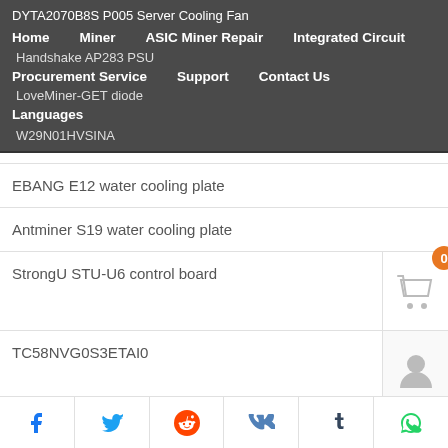DYTA2070B8S P005 Server Cooling Fan
Home
Miner
ASIC Miner Repair
Integrated Circuit
Handshake AP283 PSU
Procurement Service
Support
Contact Us
LoveMiner-GET diode
Languages
W29N01HVSINA
EBANG E12 water cooling plate
Antminer S19 water cooling plate
StrongU STU-U6 control board
TC58NVG0S3ETAI0
Microcircuit smd IX4340N (8-pin)
NCP1654
[Figure (infographic): Social share bar with Facebook, Twitter, Reddit, VK, Tumblr, and WhatsApp icons]